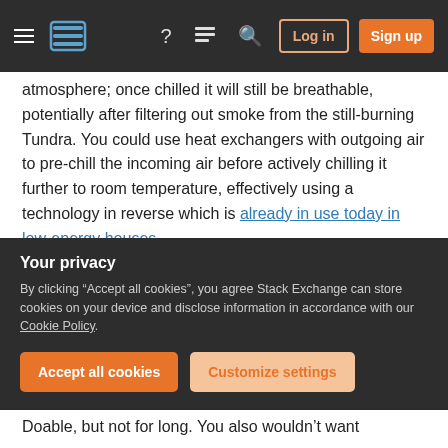Stack Exchange navigation bar with hamburger menu, logo, help, chat, search icons, Log in and Sign up buttons
atmosphere; once chilled it will still be breathable, potentially after filtering out smoke from the still-burning Tundra. You could use heat exchangers with outgoing air to pre-chill the incoming air before actively chilling it further to room temperature, effectively using a technology in reverse which is already in use today in low-energy houses.
Because of the cube-square law there would probably be more larger apartment buildings and fewer single houses. You could even have windows;
Your privacy
By clicking "Accept all cookies", you agree Stack Exchange can store cookies on your device and disclose information in accordance with our Cookie Policy.
Doable, but not for long. You also wouldn't want